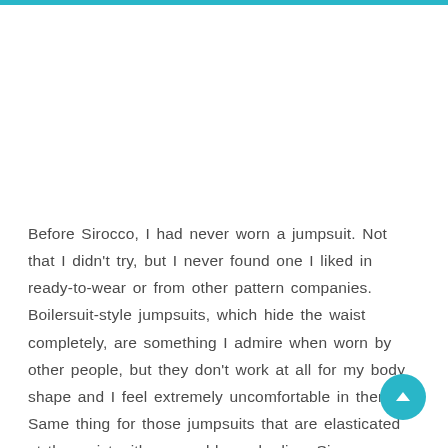Before Sirocco, I had never worn a jumpsuit. Not that I didn't try, but I never found one I liked in ready-to-wear or from other pattern companies. Boilersuit-style jumpsuits, which hide the waist completely, are something I admire when worn by other people, but they don't work at all for my body shape and I feel extremely uncomfortable in them. Same thing for those jumpsuits that are elasticated at the waist with a very blousy bodice. Sirocco, on the other hand, has a defined waist